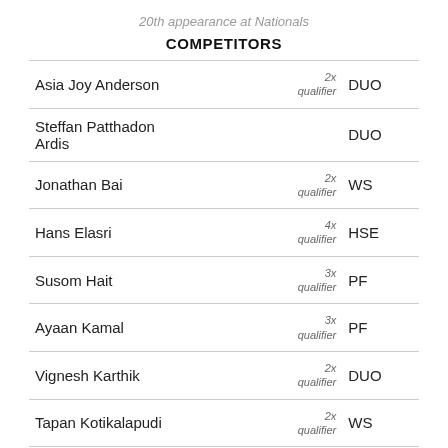20th appearance at Nationals
COMPETITORS
| Name | Qualifier | Event |
| --- | --- | --- |
| Asia Joy Anderson | 2x qualifier | DUO |
| Steffan Patthadon Ardis |  | DUO |
| Jonathan Bai | 2x qualifier | WS |
| Hans Elasri | 4x qualifier | HSE |
| Susom Hait | 3x qualifier | PF |
| Ayaan Kamal | 3x qualifier | PF |
| Vignesh Karthik | 2x qualifier | DUO |
| Tapan Kotikalapudi | 2x qualifier | WS |